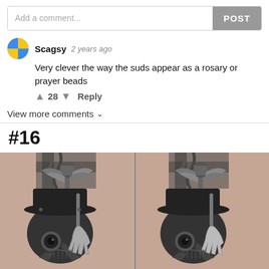[Figure (screenshot): Comment input box with 'Add a comment...' placeholder and 'POST' button]
Scagsy  2 years ago
Very clever the way the suds appear as a rosary or prayer beads
▲ 28 ▼ Reply
View more comments ∨
#16
[Figure (photo): Two side-by-side photos of a tattoo on someone's arm featuring a plague doctor skull with hat, skeleton hand holding a winged hourglass staff, and cross/rope design in the background. Black and grey style tattoo.]